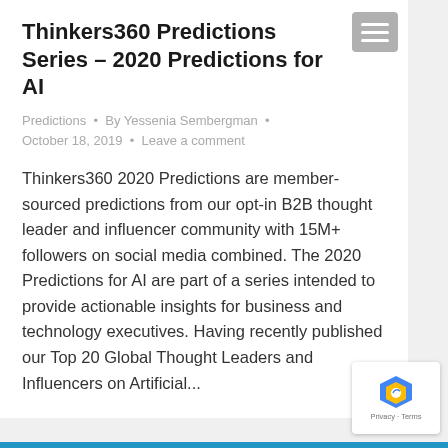Thinkers360 Predictions Series – 2020 Predictions for AI
Predictions · By Yessenia Sembergman · October 18, 2019 · Leave a comment
Thinkers360 2020 Predictions are member-sourced predictions from our opt-in B2B thought leader and influencer community with 15M+ followers on social media combined. The 2020 Predictions for AI are part of a series intended to provide actionable insights for business and technology executives. Having recently published our Top 20 Global Thought Leaders and Influencers on Artificial...